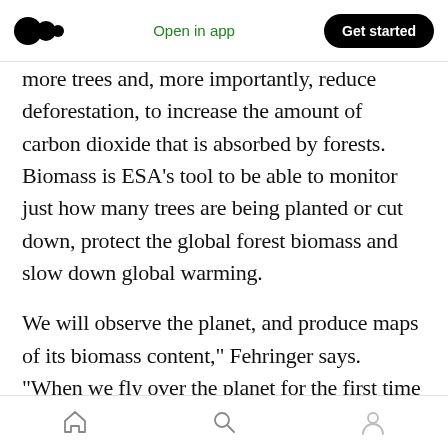Open in app | Get started
more trees and, more importantly, reduce deforestation, to increase the amount of carbon dioxide that is absorbed by forests. Biomass is ESA’s tool to be able to monitor just how many trees are being planted or cut down, protect the global forest biomass and slow down global warming.
We will observe the planet, and produce maps of its biomass content,” Fehringer says. “When we fly over the planet for the first time we will make the first maps and the next time we come around
Home | Search | Profile